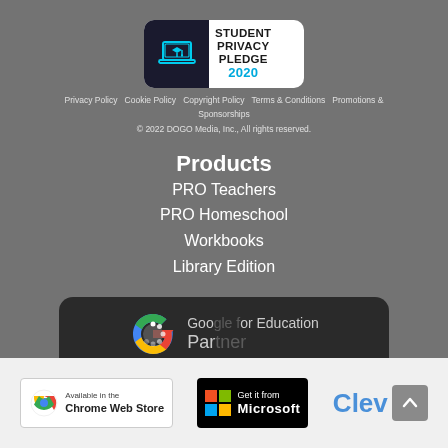[Figure (logo): Student Privacy Pledge 2020 badge with laptop icon and graduation cap on dark background]
Privacy Policy   Cookie Policy   Copyright Policy   Terms & Conditions   Promotions & Sponsorships
© 2022 DOGO Media, Inc., All rights reserved.
Products
PRO Teachers
PRO Homeschool
Workbooks
Library Edition
[Figure (logo): Google for Education Partner badge with loading spinner overlay]
[Figure (logo): Available in the Chrome Web Store badge]
[Figure (logo): Get it from Microsoft badge]
[Figure (logo): Clever partner logo]